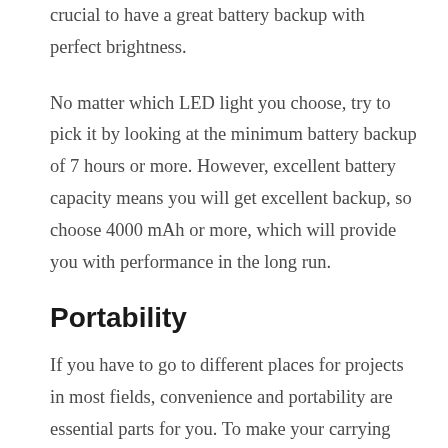crucial to have a great battery backup with perfect brightness.
No matter which LED light you choose, try to pick it by looking at the minimum battery backup of 7 hours or more. However, excellent battery capacity means you will get excellent backup, so choose 4000 mAh or more, which will provide you with performance in the long run.
Portability
If you have to go to different places for projects in most fields, convenience and portability are essential parts for you. To make your carrying process hassles free, you must choose a portable LED work light, which will provide convenient and excellent brightness performance at the same time.
Hanging Options
Though most LED work lights now have different types of hanging